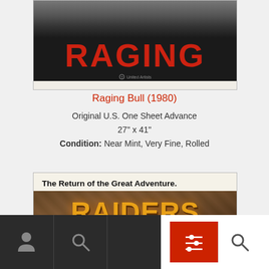[Figure (photo): Raging Bull (1980) movie poster showing the word RAGING in large red letters on black background with United Artists logo]
Raging Bull (1980)
Original U.S. One Sheet Advance
27" x 41"
Condition: Near Mint, Very Fine, Rolled
[Figure (photo): Raiders of the Lost Ark movie poster showing 'The Return of the Great Adventure.' text and Raiders of the Lost Ark logo on stone-textured background]
[Figure (screenshot): Bottom navigation bar with person icon, search icon, filter button and search button on dark background]